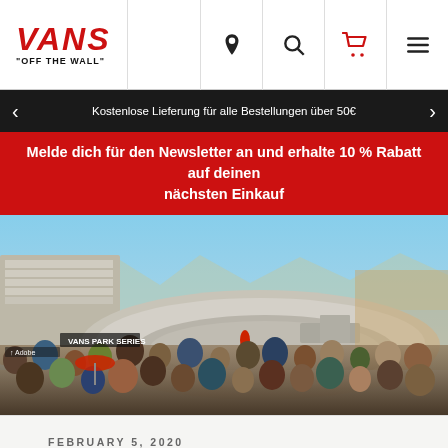VANS "OFF THE WALL"
Kostenlose Lieferung für alle Bestellungen über 50€
Melde dich für den Newsletter an und erhalte 10 % Rabatt auf deinen nächsten Einkauf
[Figure (photo): Outdoor skateboarding park event with large crowd watching a skater in a concrete bowl/pool, stadium seating visible, sunny day, VANS PARK SERIES signage]
FEBRUARY 5, 2020
VANS PARK SERIES RETURNS